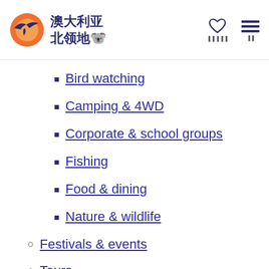澳大利亚北领地 [logo with navigation icons]
Bird watching
Camping & 4WD
Corporate & school groups
Fishing
Food & dining
Nature & wildlife
Festivals & events
Tours
Accommodation
Region guide
Tennant Creek & Barkly Region
Destinations
Barkly Tablelands